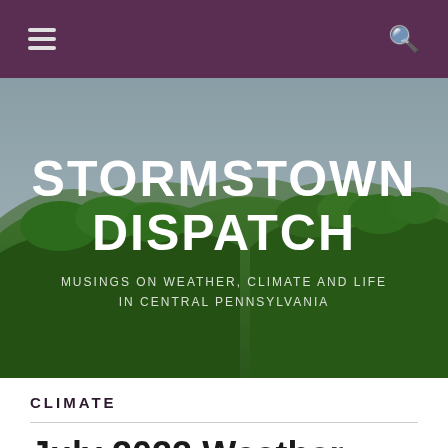Stormstown Dispatch — navigation bar with hamburger menu and search icon
[Figure (photo): Hero banner with landscape photo showing green forested hills under a light blue sky, overlaid with site title and tagline text]
STORMSTOWN DISPATCH
MUSINGS ON WEATHER, CLIMATE AND LIFE IN CENTRAL PENNSYLVANIA
CLIMATE
July 2022 Weather...